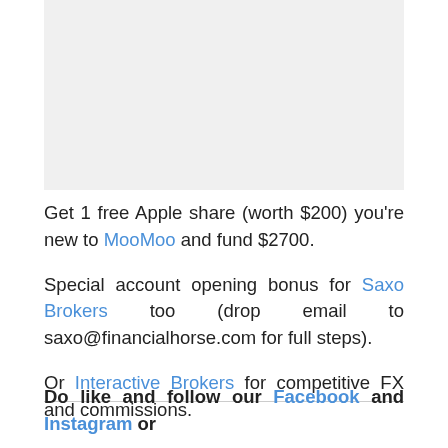[Figure (other): Grey rectangular placeholder box at the top of the page]
Get 1 free Apple share (worth $200) you're new to MooMoo and fund $2700.
Special account opening bonus for Saxo Brokers too (drop email to saxo@financialhorse.com for full steps).
Or Interactive Brokers for competitive FX and commissions.
Do like and follow our Facebook and Instagram or